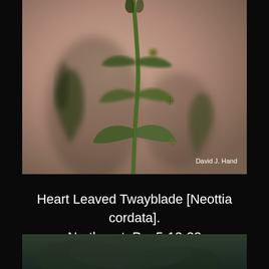[Figure (photo): Close-up macro photograph of Heart Leaved Twayblade (Neottia cordata) plant showing green stem with small star-shaped flowers/buds against a blurred pinkish-tan background. Photo credit: David J. Hand]
Heart Leaved Twayblade [Neottia cordata]. Northeast, Pa. 5-12-22
[Figure (photo): Partial bottom photo showing dark green/teal blurred background, likely another plant photograph]